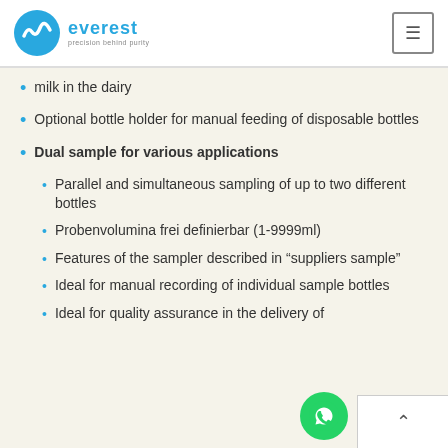everest — precision behind purity
milk in the dairy
Optional bottle holder for manual feeding of disposable bottles
Dual sample for various applications
Parallel and simultaneous sampling of up to two different bottles
Probenvolumina frei definierbar (1-9999ml)
Features of the sampler described in “suppliers sample”
Ideal for manual recording of individual sample bottles
Ideal for quality assurance in the delivery of